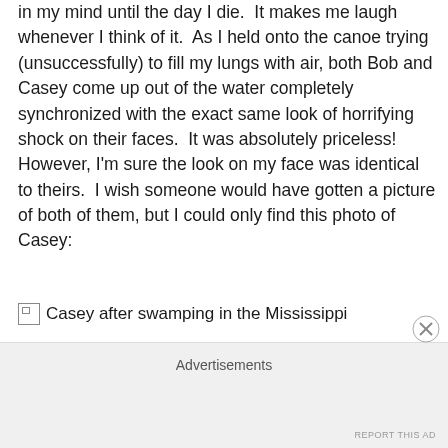in my mind until the day I die.  It makes me laugh whenever I think of it.  As I held onto the canoe trying (unsuccessfully) to fill my lungs with air, both Bob and Casey come up out of the water completely synchronized with the exact same look of horrifying shock on their faces.  It was absolutely priceless! However, I'm sure the look on my face was identical to theirs.  I wish someone would have gotten a picture of both of them, but I could only find this photo of Casey:
[Figure (photo): Broken image placeholder with alt text: Casey after swamping in the Mississippi]
Advertisements